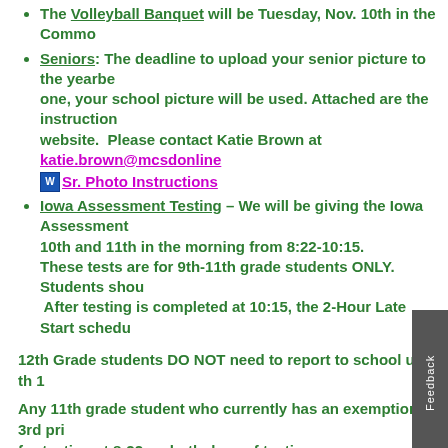The Volleyball Banquet will be Tuesday, Nov. 10th in the Commo...
Seniors: The deadline to upload your senior picture to the yearbe one, your school picture will be used. Attached are the instruction website. Please contact Katie Brown at katie.brown@mcsdonline... Sr. Photo Instructions
Iowa Assessment Testing – We will be giving the Iowa Assessment 10th and 11th in the morning from 8:22-10:15. These tests are for 9th-11th grade students ONLY. Students shou After testing is completed at 10:15, the 2-Hour Late Start schedu
12th Grade students DO NOT need to report to school until th 1...
Any 11th grade student who currently has an exemption 3rd pri for testing at 8:22 on both days of testing.
Countdown to the Holidays with delicious German chocolate!! $4 'Adventskalendar' to help count down the days to the winter holi window on the calendar each day to reveal a tasty German choco You can participate in this tradition too! See a German Club me Let your parents and grandparents know too – they make great g
The 2015 Muskie Football Banquet will be held on Sunday night,